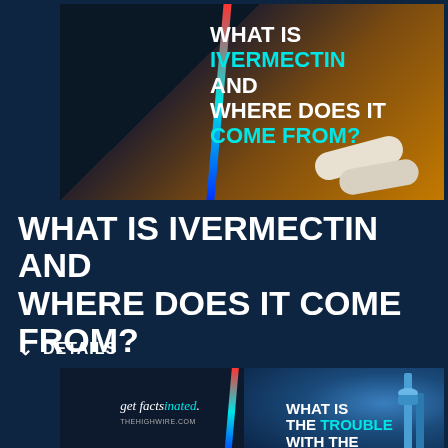[Figure (screenshot): Video thumbnail with dark background, pills, and text overlay reading 'WHAT IS IVERMECTIN AND WHERE DOES IT COME FROM?' with IVERMECTIN and COME FROM in cyan, rest in white.]
WHAT IS IVERMECTIN AND WHERE DOES IT COME FROM?
✓ DETAILS
[Figure (screenshot): Video thumbnail with 'get factsinated. THEHIGHWIRE.COM' branding on left and 'WHAT IS THE TROUBLE WITH THE' text overlay on right with medical/pipe imagery.]